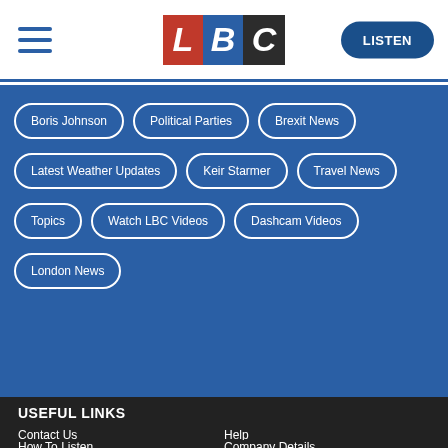LBC | LISTEN
Boris Johnson
Political Parties
Brexit News
Latest Weather Updates
Keir Starmer
Travel News
Topics
Watch LBC Videos
Dashcam Videos
London News
USEFUL LINKS
Contact Us
Help
How To Listen
Company Details